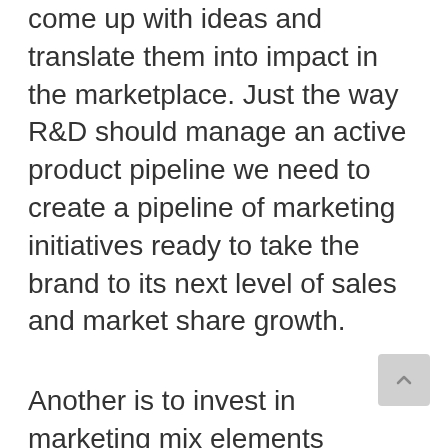come up with ideas and translate them into impact in the marketplace. Just the way R&D should manage an active product pipeline we need to create a pipeline of marketing initiatives ready to take the brand to its next level of sales and market share growth.
Another is to invest in marketing mix elements appropriate for the life stage of the brand. For example, where share of voice is critical, it's important to invest in media, feet on the street, whatever will give your brand the share of voice needed to